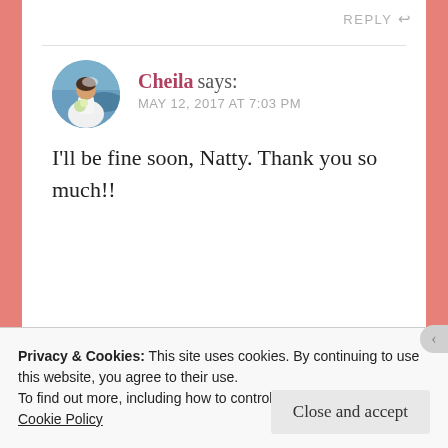REPLY ↩
[Figure (photo): Circular avatar photo of Cheila, a woman in a wedding dress holding flowers, with a blue car in the background]
Cheila says:
MAY 12, 2017 AT 7:03 PM
I'll be fine soon, Natty. Thank you so much!!
★ Liked by 1 person
Privacy & Cookies: This site uses cookies. By continuing to use this website, you agree to their use.
To find out more, including how to control cookies, see here:
Cookie Policy
Close and accept